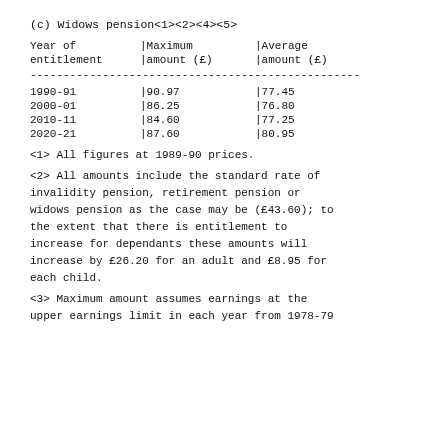(c) Widows pension<1><2><4><5>
| Year of entitlement | |Maximum amount (£) | |Average amount (£) |
| --- | --- | --- |
| 1990-91 | |90.97 | |77.45 |
| 2000-01 | |86.25 | |76.80 |
| 2010-11 | |84.60 | |77.25 |
| 2020-21 | |87.60 | |80.95 |
<1> All figures at 1989-90 prices.
<2> All amounts include the standard rate of invalidity pension, retirement pension or widows pension as the case may be (£43.60); to the extent that there is entitlement to increase for dependants these amounts will increase by £26.20 for an adult and £8.95 for each child.
<3> Maximum amount assumes earnings at the upper earnings limit in each year from 1978-79